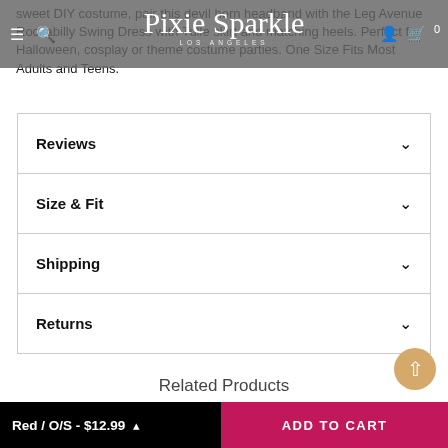Pixie Sparkle Los Angeles
sweet DIY costume, pair this devil horn headband with the Leg Avenue Rockabilly Swing Dress with Tulle skirt and matching heels. Perfect for Halloween, cosplay or theme costume parties. One Size Fits Most Adults and Teens.
Reviews
Size & Fit
Shipping
Returns
Related Products
Red / O/S - $12.99   ADD TO CART